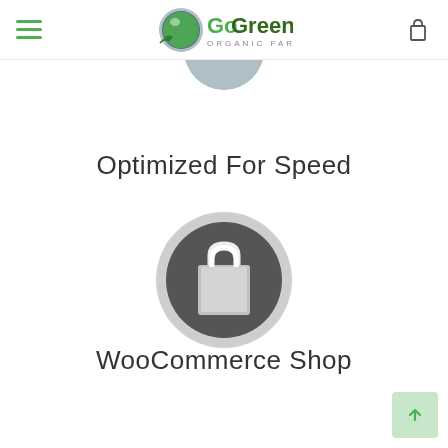GoGreen Organic Farm - navigation bar with hamburger menu and cart
[Figure (logo): GoGreen Organic Farm logo with green globe and green text]
Optimized For Speed
[Figure (illustration): Dark grey circle with shopping bag icon in white]
WooCommerce Shop